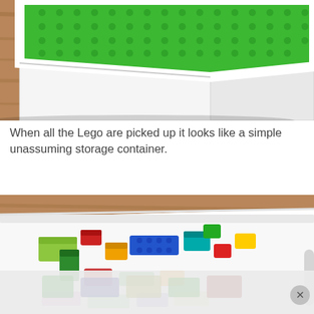[Figure (photo): Close-up photo of a white wooden box/table with a green LEGO Duplo baseplate on top, sitting on a wooden floor. The photo is taken at an angle showing the corner of the box.]
When all the Lego are picked up it looks like a simple unassuming storage container.
[Figure (photo): Photo looking down into a white wooden box/container filled with colorful LEGO Duplo bricks in red, green, blue, yellow, lime green colors. The box sits on a wooden floor. An advertisement overlay appears at the bottom of the image.]